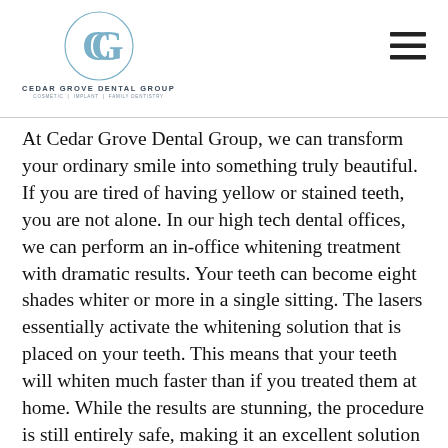Cedar Grove Dental Group
At Cedar Grove Dental Group, we can transform your ordinary smile into something truly beautiful. If you are tired of having yellow or stained teeth, you are not alone. In our high tech dental offices, we can perform an in-office whitening treatment with dramatic results. Your teeth can become eight shades whiter or more in a single sitting. The lasers essentially activate the whitening solution that is placed on your teeth. This means that your teeth will whiten much faster than if you treated them at home. While the results are stunning, the procedure is still entirely safe, making it an excellent solution for improving your appearance. You can also whiten your teeth using custom-made whitening trays, and while this works, it